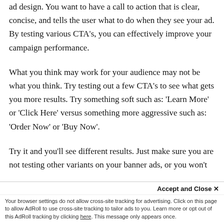ad design. You want to have a call to action that is clear, concise, and tells the user what to do when they see your ad. By testing various CTA's, you can effectively improve your campaign performance.
What you think may work for your audience may not be what you think. Try testing out a few CTA's to see what gets you more results. Try something soft such as: 'Learn More' or 'Click Here' versus something more aggressive such as: 'Order Now' or 'Buy Now'.
Try it and you'll see different results. Just make sure you are not testing other variants on your banner ads, or you won't know which element is responsible for the ca...
Accept and Close ×
Your browser settings do not allow cross-site tracking for advertising. Click on this page to allow AdRoll to use cross-site tracking to tailor ads to you. Learn more or opt out of this AdRoll tracking by clicking here. This message only appears once.